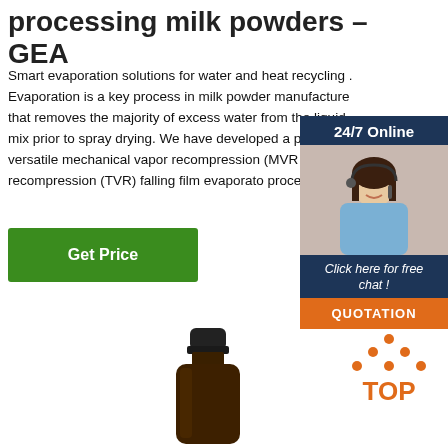processing milk powders – GEA
Smart evaporation solutions for water and heat recycling . Evaporation is a key process in milk powder manufacture that removes the majority of excess water from the liquid mix prior to spray drying. We have developed a portfolio of versatile mechanical vapor recompression (MVR) vapor recompression (TVR) falling film evaporators process.
[Figure (other): Green 'Get Price' button]
[Figure (other): 24/7 online chat widget with woman wearing headset, 'Click here for free chat!' text and orange QUOTATION button]
[Figure (photo): Dark amber glass bottle with black cap]
[Figure (logo): Orange TOP logo with dots arranged in triangle above the text]